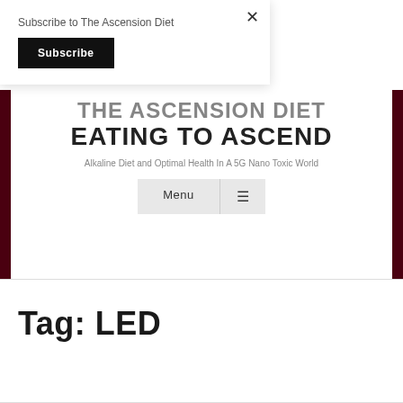Subscribe to The Ascension Diet
Subscribe
THE ASCENSION DIET EATING TO ASCEND
Alkaline Diet and Optimal Health In A 5G Nano Toxic World
Menu
Tag: LED